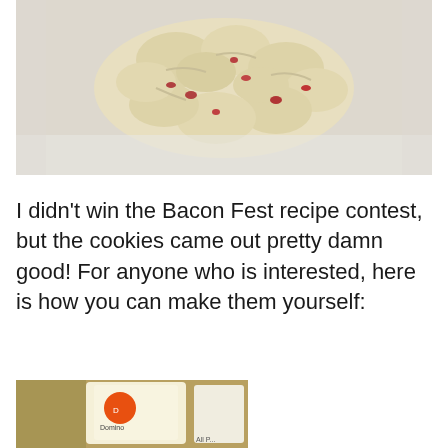[Figure (photo): Close-up photo of a lumpy, textured cookie with reddish bits (bacon/cranberry) on a white cloth or paper surface]
I didn't win the Bacon Fest recipe contest, but the cookies came out pretty damn good!  For anyone who is interested, here is how you can make them yourself:
[Figure (photo): Photo of baking ingredients on a countertop including a bag of Domino sugar and what appears to be flour (All-Purpose)]